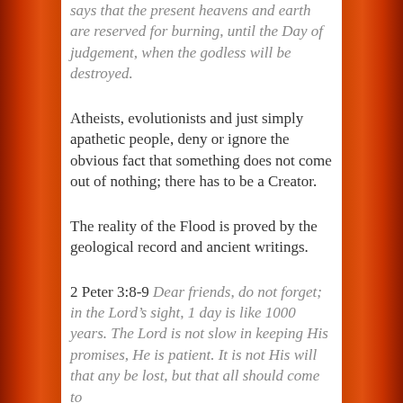says that the present heavens and earth are reserved for burning, until the Day of judgement, when the godless will be destroyed.
Atheists, evolutionists and just simply apathetic people, deny or ignore the obvious fact that something does not come out of nothing; there has to be a Creator.
The reality of the Flood is proved by the geological record and ancient writings.
2 Peter 3:8-9 Dear friends, do not forget; in the Lord's sight, 1 day is like 1000 years. The Lord is not slow in keeping His promises, He is patient. It is not His will that any be lost, but that all should come to